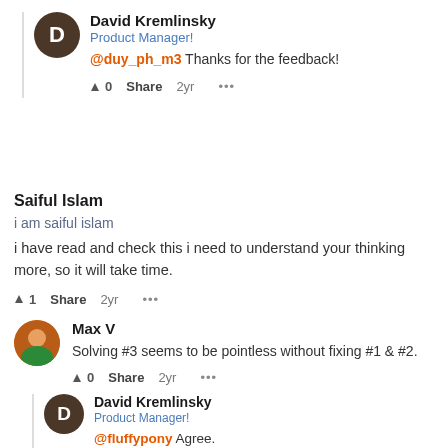David Kremlinsky
Product Manager!
@duy_ph_m3 Thanks for the feedback!
▲ 0  Share  2yr  •••
Saiful Islam
i am saiful islam
i have read and check this i need to understand your thinking more, so it will take time.
▲ 1  Share  2yr  •••
Max V
Solving #3 seems to be pointless without fixing #1 & #2.
▲ 0  Share  2yr  •••
David Kremlinsky
Product Manager!
@fluffypony Agree.
▲ 0  Share  2yr  •••